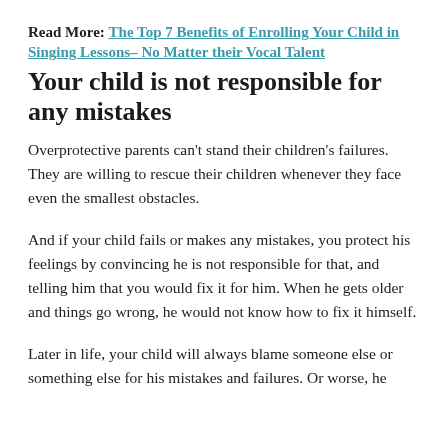Read More: The Top 7 Benefits of Enrolling Your Child in Singing Lessons– No Matter their Vocal Talent
Your child is not responsible for any mistakes
Overprotective parents can't stand their children's failures. They are willing to rescue their children whenever they face even the smallest obstacles.
And if your child fails or makes any mistakes, you protect his feelings by convincing he is not responsible for that, and telling him that you would fix it for him. When he gets older and things go wrong, he would not know how to fix it himself.
Later in life, your child will always blame someone else or something else for his mistakes and failures. Or worse, he